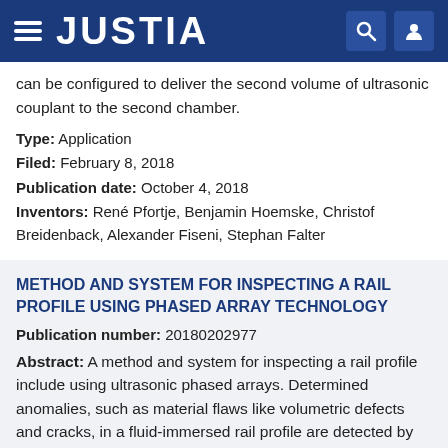JUSTIA
can be configured to deliver the second volume of ultrasonic couplant to the second chamber.
Type: Application
Filed: February 8, 2018
Publication date: October 4, 2018
Inventors: René Pfortje, Benjamin Hoemske, Christof Breidenback, Alexander Fiseni, Stephan Falter
METHOD AND SYSTEM FOR INSPECTING A RAIL PROFILE USING PHASED ARRAY TECHNOLOGY
Publication number: 20180202977
Abstract: A method and system for inspecting a rail profile include using ultrasonic phased arrays. Determined anomalies, such as material flaws like volumetric defects and cracks, in a fluid-immersed rail profile are detected by employing one or more phased array probes located proximate the rail profile.